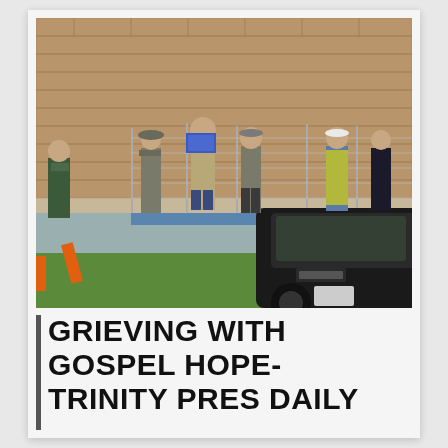[Figure (photo): Law enforcement officers gathered outside a fenced area near a brick building. Several officers in uniform with guns on their belts are standing and talking. One officer in a yellow safety vest is visible. A black SUV is parked in the foreground. Green grass is visible at bottom.]
GRIEVING WITH GOSPEL HOPE- TRINITY PRES DAILY